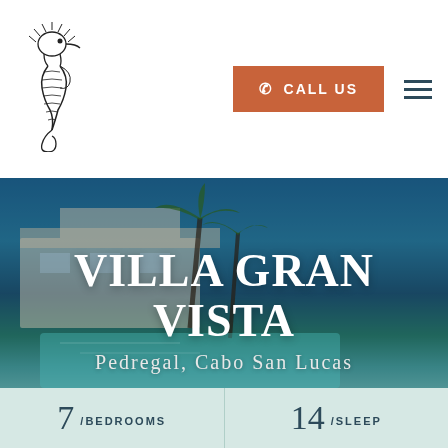[Figure (logo): Stylized line-art seahorse logo in black on white background]
CALL US
VILLA GRAN VISTA
Pedregal, Cabo San Lucas
7 /BEDROOMS
14 /SLEEP